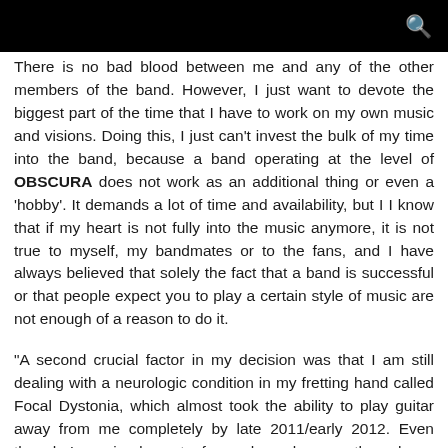There is no bad blood between me and any of the other members of the band. However, I just want to devote the biggest part of the time that I have to work on my own music and visions. Doing this, I just can't invest the bulk of my time into the band, because a band operating at the level of OBSCURA does not work as an additional thing or even a 'hobby'. It demands a lot of time and availability, but I I know that if my heart is not fully into the music anymore, it is not true to myself, my bandmates or to the fans, and I have always believed that solely the fact that a band is successful or that people expect you to play a certain style of music are not enough of a reason to do it.
"A second crucial factor in my decision was that I am still dealing with a neurologic condition in my fretting hand called Focal Dystonia, which almost took the ability to play guitar away from me completely by late 2011/early 2012. Even though I regained most of my chops by now through re-training and Botox therapy, the condition is still there and I have to be very careful not to relapse and undo my progress by putting too much strain on my hand, which is why touring several months on an album cycle